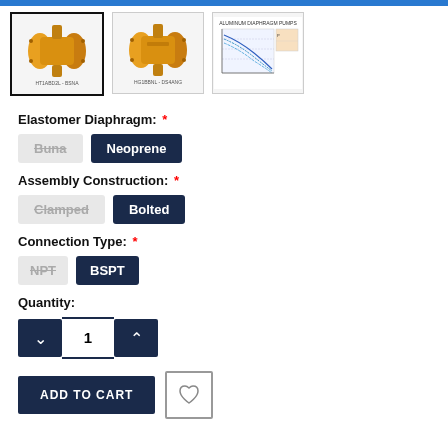[Figure (photo): Three product thumbnails: two yellow diaphragm pump photos and one performance curve chart. First thumbnail is selected (dark border).]
Elastomer Diaphragm: *
Buna (inactive/crossed out), Neoprene (selected/active)
Assembly Construction: *
Clamped (inactive/crossed out), Bolted (selected/active)
Connection Type: *
NPT (inactive/crossed out), BSPT (selected/active)
Quantity:
1
ADD TO CART